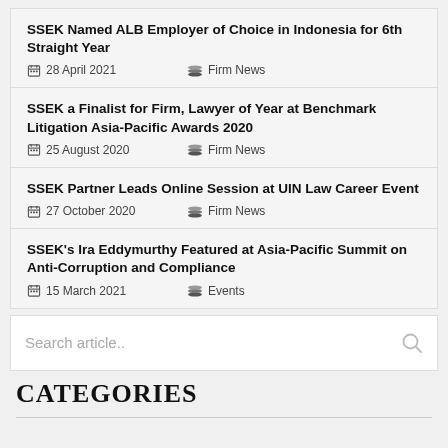SSEK Named ALB Employer of Choice in Indonesia for 6th Straight Year
28 April 2021  Firm News
SSEK a Finalist for Firm, Lawyer of Year at Benchmark Litigation Asia-Pacific Awards 2020
25 August 2020  Firm News
SSEK Partner Leads Online Session at UIN Law Career Event
27 October 2020  Firm News
SSEK's Ira Eddymurthy Featured at Asia-Pacific Summit on Anti-Corruption and Compliance
15 March 2021  Events
Search article..
CATEGORIES